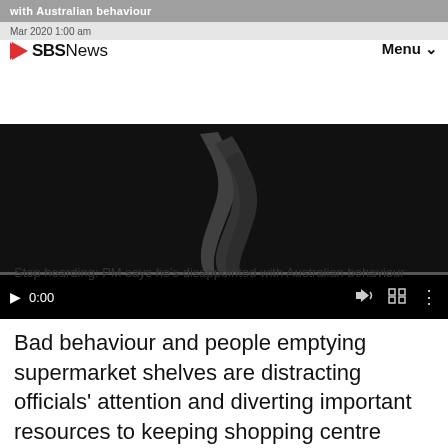with Australian behaviour | SBS News | Menu
[Figure (screenshot): Video player showing a dark background with a bird/feather silhouette graphic, play button at 0:00, volume, fullscreen and more options controls, and a progress bar]
Stop hoarding: PM says he's disappointed with Australian behaviour
Bad behaviour and people emptying supermarket shelves are distracting officials' attention and diverting important resources to keeping shopping centre supply lines open, he said.